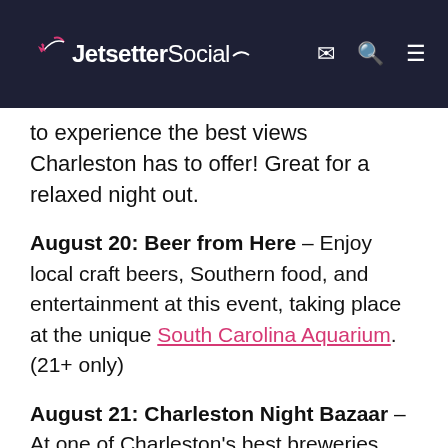JetsetterSocial
to experience the best views Charleston has to offer! Great for a relaxed night out.
August 20: Beer from Here – Enjoy local craft beers, Southern food, and entertainment at this event, taking place at the unique South Carolina Aquarium. (21+ only)
August 21: Charleston Night Bazaar – At one of Charleston's best breweries, Edmund's East Brewing Co., enjoy an evening arts and crafts market with local craft beers and delicious food.